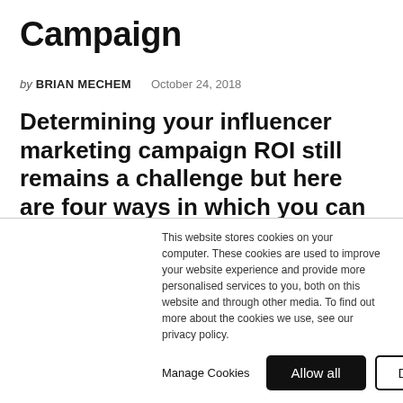Campaign
by BRIAN MECHEM    October 24, 2018
Determining your influencer marketing campaign ROI still remains a challenge but here are four ways in which you can measure the success of your influencer marketing campaign.
This website stores cookies on your computer. These cookies are used to improve your website experience and provide more personalised services to you, both on this website and through other media. To find out more about the cookies we use, see our privacy policy.
Manage Cookies   Allow all   Decline